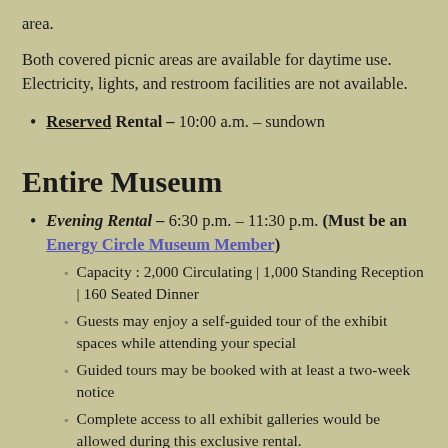area.
Both covered picnic areas are available for daytime use. Electricity, lights, and restroom facilities are not available.
Reserved Rental – 10:00 a.m. – sundown
Entire Museum
Evening Rental – 6:30 p.m. – 11:30 p.m. (Must be an Energy Circle Museum Member)
Capacity: 2,000 Circulating | 1,000 Standing Reception | 160 Seated Dinner
Guests may enjoy a self-guided tour of the exhibit spaces while attending your special
Guided tours may be booked with at least a two-week notice
Complete access to all exhibit galleries would be allowed during this exclusive rental.
Auditorium space with all its amenities will be available